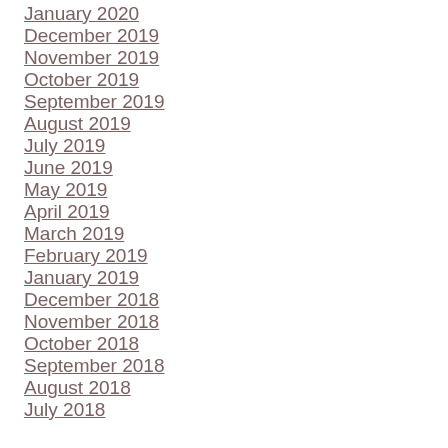January 2020
December 2019
November 2019
October 2019
September 2019
August 2019
July 2019
June 2019
May 2019
April 2019
March 2019
February 2019
January 2019
December 2018
November 2018
October 2018
September 2018
August 2018
July 2018